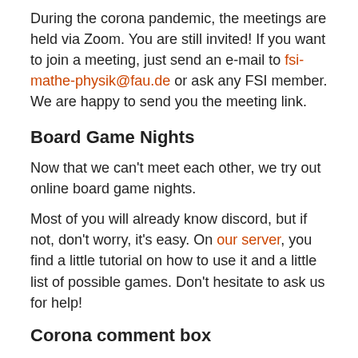During the corona pandemic, the meetings are held via Zoom. You are still invited! If you want to join a meeting, just send an e-mail to fsi-mathe-physik@fau.de or ask any FSI member. We are happy to send you the meeting link.
Board Game Nights
Now that we can't meet each other, we try out online board game nights.
Most of you will already know discord, but if not, don't worry, it's easy. On our server, you find a little tutorial on how to use it and a little list of possible games. Don't hesitate to ask us for help!
Corona comment box